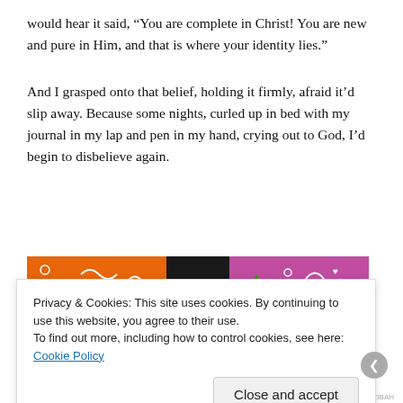would hear it said, “You are complete in Christ! You are new and pure in Him, and that is where your identity lies.”
And I grasped onto that belief, holding it firmly, afraid it’d slip away. Because some nights, curled up in bed with my journal in my lap and pen in my hand, crying out to God, I’d begin to disbelieve again.
[Figure (photo): Colorful book cover strip with orange, black, and purple colors with decorative doodles]
Privacy & Cookies: This site uses cookies. By continuing to use this website, you agree to their use.
To find out more, including how to control cookies, see here: Cookie Policy
Close and accept